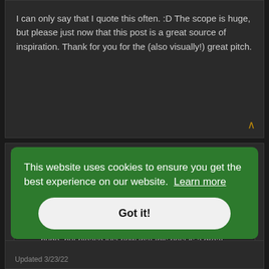I can only say that I quote this often. :D The scope is huge, but please just now that this post is a great source of inspiration. Thank for you for the (also visually!) great pitch.
Jambiya
Wed Mar 23, 2022 4:33 pm
Coun wrote: ↑
I can only say that I quote this often. :D The scope is huge, but please just now that this post is a great source of inspiration. Thank for you for the (also visually!) great pitch.
This website uses cookies to ensure you get the best experience on our website. Learn more
Got it!